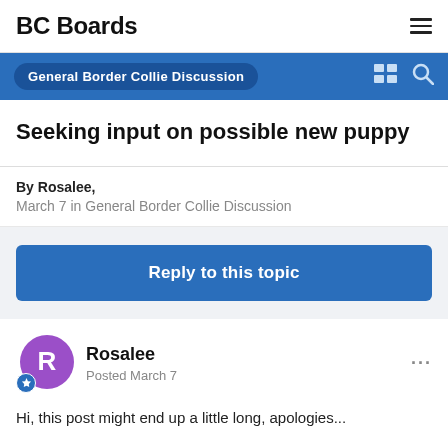BC Boards
General Border Collie Discussion
Seeking input on possible new puppy
By Rosalee,
March 7 in General Border Collie Discussion
Reply to this topic
Rosalee
Posted March 7
Hi, this post might end up a little long, apologies...